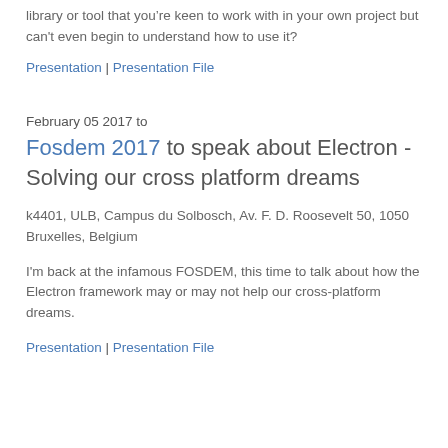library or tool that you're keen to work with in your own project but can't even begin to understand how to use it?
Presentation | Presentation File
February 05 2017 to
Fosdem 2017 to speak about Electron - Solving our cross platform dreams
k4401, ULB, Campus du Solbosch, Av. F. D. Roosevelt 50, 1050 Bruxelles, Belgium
I'm back at the infamous FOSDEM, this time to talk about how the Electron framework may or may not help our cross-platform dreams.
Presentation | Presentation File